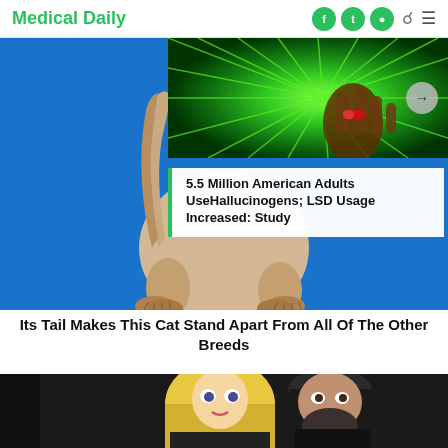Medical Daily
[Figure (photo): Green burst background with a hand holding a red pill capsule]
5.5 Million American Adults UseHallucinogens; LSD Usage Increased: Study
[Figure (photo): A cat walking on a blue background, viewed from the back showing its distinctive tail]
Its Tail Makes This Cat Stand Apart From All Of The Other Breeds
[Figure (photo): A blonde woman and a dark-haired bearded man photographed together]